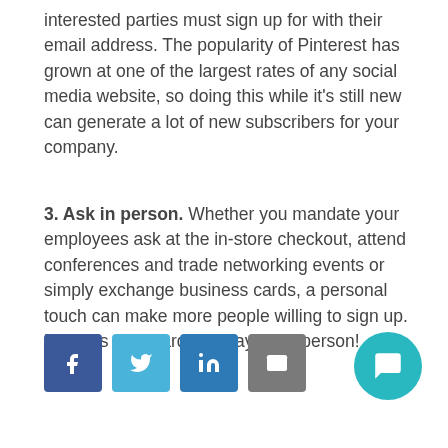interested parties must sign up for with their email address. The popularity of Pinterest has grown at one of the largest rates of any social media website, so doing this while it's still new can generate a lot of new subscribers for your company.
3. Ask in person. Whether you mandate your employees ask at the in-store checkout, attend conferences and trade networking events or simply exchange business cards, a personal touch can make more people willing to sign up. Plus, it's a lot harder to say no in person!
[Figure (other): Social share buttons: Facebook, Twitter, LinkedIn, Email, and a teal chat bubble button]